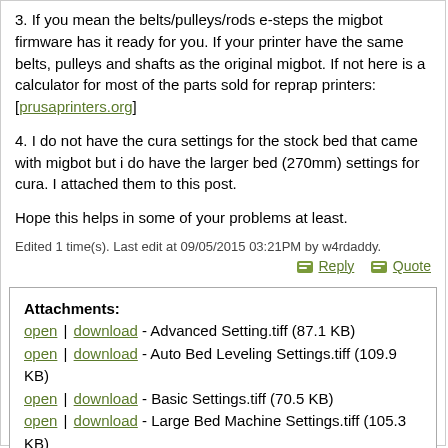3. If you mean the belts/pulleys/rods e-steps the migbot firmware has it ready for you. If your printer have the same belts, pulleys and shafts as the original migbot. If not here is a calculator for most of the parts sold for reprap printers: [prusaprinters.org]
4. I do not have the cura settings for the stock bed that came with migbot but i do have the larger bed (270mm) settings for cura. I attached them to this post.
Hope this helps in some of your problems at least.
Edited 1 time(s). Last edit at 09/05/2015 03:21PM by w4rdaddy.
Reply   Quote
Attachments:
open | download - Advanced Setting.tiff (87.1 KB)
open | download - Auto Bed Leveling Settings.tiff (109.9 KB)
open | download - Basic Settings.tiff (70.5 KB)
open | download - Large Bed Machine Settings.tiff (105.3 KB)